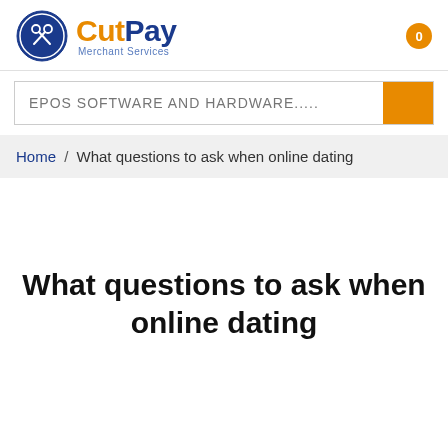[Figure (logo): CutPay Merchant Services logo with circular icon on left and 'CutPay' text in orange and blue, 'Merchant Services' subtitle]
0
EPOS SOFTWARE AND HARDWARE.....
Home / What questions to ask when online dating
What questions to ask when online dating